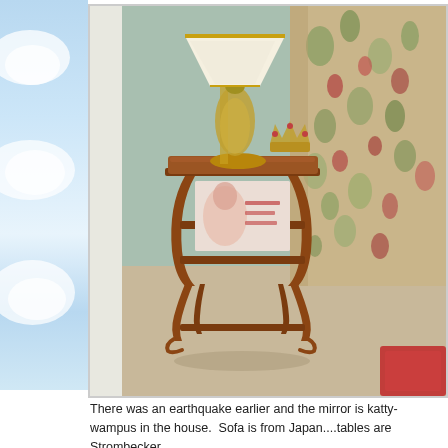[Figure (photo): Close-up photograph of a miniature wooden end table/magazine rack with decorative cabriolet legs, holding a small magazine. On top sits a brass table lamp with white shade and a small ornamental crown decoration. Behind the table is a floral-upholstered sofa arm with beige/cream fabric featuring red and green floral pattern. The floor appears to be beige carpet. A red rug is partially visible at the bottom right. The background wall is pale blue/green. The left portion of the image shows a decorative panel with blue sky and white cloud motifs.]
There was an earthquake earlier and the mirror is katty-wampus in the house.  Sofa is from Japan....tables are  Strombecker.